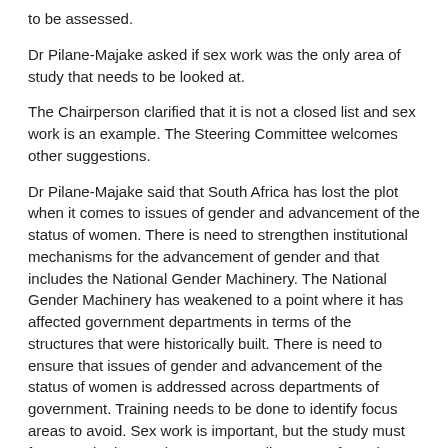to be assessed.
Dr Pilane-Majake asked if sex work was the only area of study that needs to be looked at.
The Chairperson clarified that it is not a closed list and sex work is an example. The Steering Committee welcomes other suggestions.
Dr Pilane-Majake said that South Africa has lost the plot when it comes to issues of gender and advancement of the status of women. There is need to strengthen institutional mechanisms for the advancement of gender and that includes the National Gender Machinery. The National Gender Machinery has weakened to a point where it has affected government departments in terms of the structures that were historically built. There is need to ensure that issues of gender and advancement of the status of women is addressed across departments of government. Training needs to be done to identify focus areas to avoid. Sex work is important, but the study must focus on the issues that represent all women of South Africa.
Specific sectors are important, but it will be unwise to push an agenda that focuses only on one sector. Strengthening